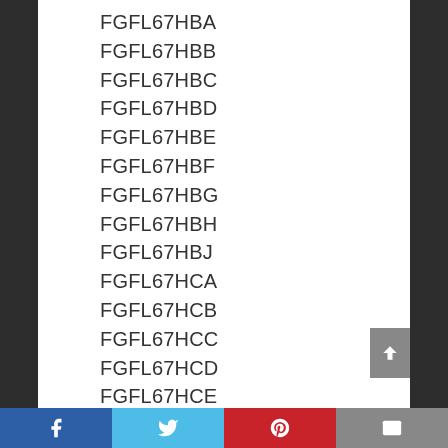FGFL67HBA
FGFL67HBB
FGFL67HBC
FGFL67HBD
FGFL67HBE
FGFL67HBF
FGFL67HBG
FGFL67HBH
FGFL67HBJ
FGFL67HCA
FGFL67HCB
FGFL67HCC
FGFL67HCD
FGFL67HCE
FGFL67HCF